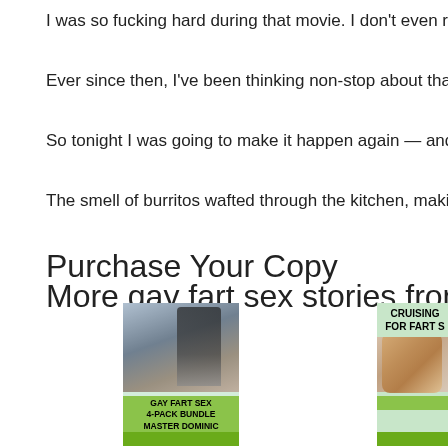I was so fucking hard during that movie. I don't even remember wha
Ever since then, I've been thinking non-stop about that night. It's be
So tonight I was going to make it happen again — and then make it
The smell of burritos wafted through the kitchen, making me even h
Purchase Your Copy
More gay fart sex stories from Master D
[Figure (photo): Book cover: Gay Fart Sex 4-Pack Bundle by Master Dominic, green cover with photo of muscular figures]
[Figure (photo): Book cover: Cruising For Fart S... (title cut off), green cover with close-up photo]